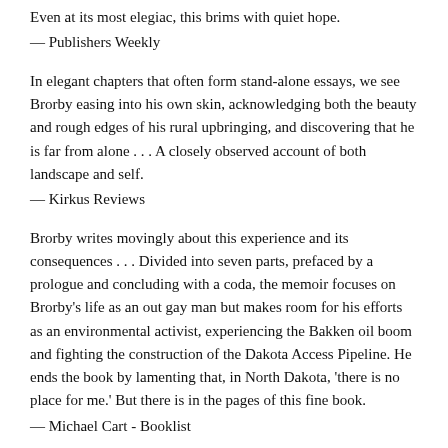Even at its most elegiac, this brims with quiet hope.
— Publishers Weekly
In elegant chapters that often form stand-alone essays, we see Brorby easing into his own skin, acknowledging both the beauty and rough edges of his rural upbringing, and discovering that he is far from alone . . . A closely observed account of both landscape and self.
— Kirkus Reviews
Brorby writes movingly about this experience and its consequences . . . Divided into seven parts, prefaced by a prologue and concluding with a coda, the memoir focuses on Brorby's life as an out gay man but makes room for his efforts as an environmental activist, experiencing the Bakken oil boom and fighting the construction of the Dakota Access Pipeline. He ends the book by lamenting that, in North Dakota, 'there is no place for me.' But there is in the pages of this fine book.
— Michael Cart - Booklist
[Figure (other): Empty bordered box at bottom of page]